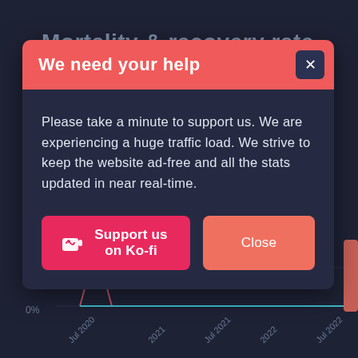[Figure (screenshot): Background showing Mortality & recovery rate chart with Deaths/Recoveries / total confirmed infected subtitle, legend showing Mortality rate (red) and Recovery rate (teal), and a line chart with x-axis dates Jul 2020, 2021, Jul 2021, 2022, Jul 2022 and y-axis values 0% and 0.5%. A modal dialog overlays the chart.]
We need your help
Please take a minute to support us. We are experiencing a huge traffic load. We strive to keep the website ad-free and all the stats updated in near real-time.
Support us on Ko-fi
Close